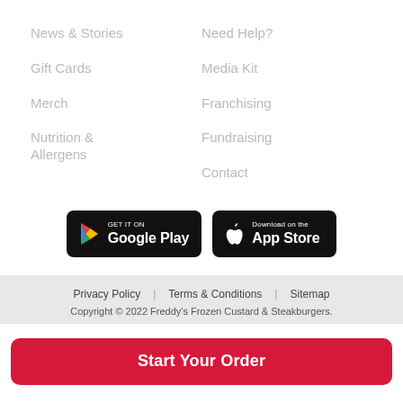News & Stories
Gift Cards
Merch
Nutrition & Allergens
Need Help?
Media Kit
Franchising
Fundraising
Contact
[Figure (screenshot): GET IT ON Google Play button and Download on the App Store button]
Privacy Policy | Terms & Conditions | Sitemap
Copyright © 2022 Freddy's Frozen Custard & Steakburgers.
Start Your Order